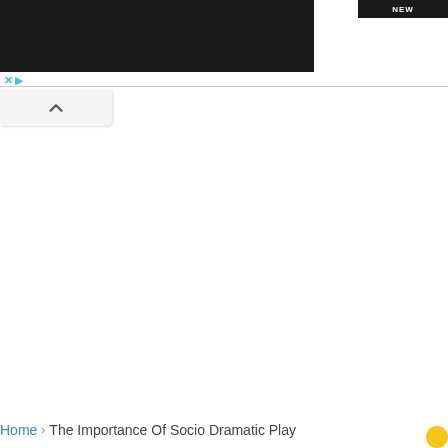[Figure (screenshot): Website UI screenshot showing a black banner/header area with ad controls (X and play button in teal), a collapse button with up chevron, and a breadcrumb navigation at the bottom reading 'Home > The Importance Of Socio Dramatic Play']
Home › The Importance Of Socio Dramatic Play